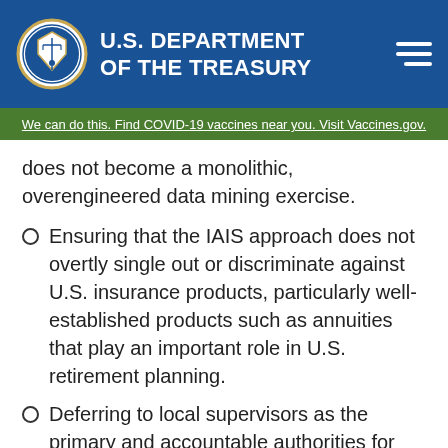U.S. DEPARTMENT OF THE TREASURY
We can do this. Find COVID-19 vaccines near you. Visit Vaccines.gov.
does not become a monolithic, overengineered data mining exercise.
Ensuring that the IAIS approach does not overtly single out or discriminate against U.S. insurance products, particularly well-established products such as annuities that play an important role in U.S. retirement planning.
Deferring to local supervisors as the primary and accountable authorities for systemic risk oversight.
The ABA should be implemented based on a